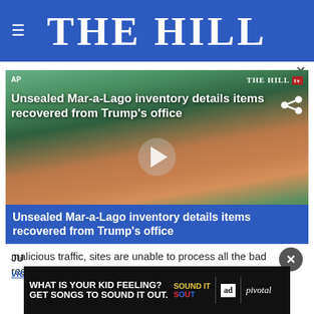THE HILL
[Figure (screenshot): Video thumbnail showing aerial view of Mar-a-Lago estate with headline 'Unsealed Mar-a-Lago inventory details items recovered from Trump's office' overlaid in white text at top, and repeated in blue banner at bottom. Play button visible in center. THE HILL TV logo in top right. AP label in top left.]
malicious traffic, sites are unable to process all the bad requests and fail.
[Figure (photo): Advertisement banner: 'WHAT IS YOUR KID FEELING? GET SONGS TO SOUND IT OUT.' with Sound It Out logo, ad council logo, and Pivotal branding.]